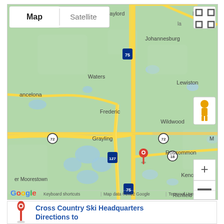[Figure (map): Google Map screenshot showing area around Roscommon, Michigan. Map/Satellite toggle visible at top. Shows cities: Gaylord, Briley, Johannesburg, Mancelona, Waters, Lewiston, Frederic, Wildwood, Grayling, Moorestown, Roscommon, Keno, Richfield. Interstate 75, route 72, route 127, route 18 visible. Red location pin placed near Roscommon. Google branding, keyboard shortcuts, map data copyright 2022 Google, Terms of Use footer visible.]
Cross Country Ski Headquarters
Directions to